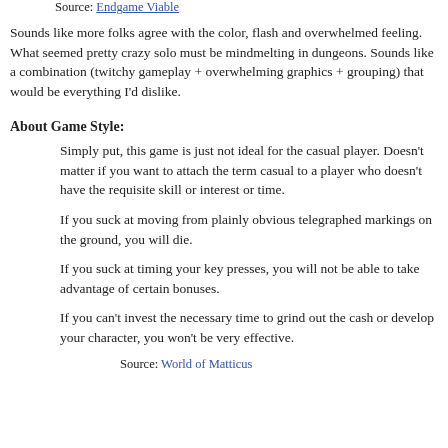Source: Endgame Viable
Sounds like more folks agree with the color, flash and overwhelmed feeling. What seemed pretty crazy solo must be mindmelting in dungeons. Sounds like a combination (twitchy gameplay + overwhelming graphics + grouping) that would be everything I'd dislike.
About Game Style:
Simply put, this game is just not ideal for the casual player. Doesn't matter if you want to attach the term casual to a player who doesn't have the requisite skill or interest or time.
If you suck at moving from plainly obvious telegraphed markings on the ground, you will die.
If you suck at timing your key presses, you will not be able to take advantage of certain bonuses.
If you can't invest the necessary time to grind out the cash or develop your character, you won't be very effective.
Source: World of Matticus